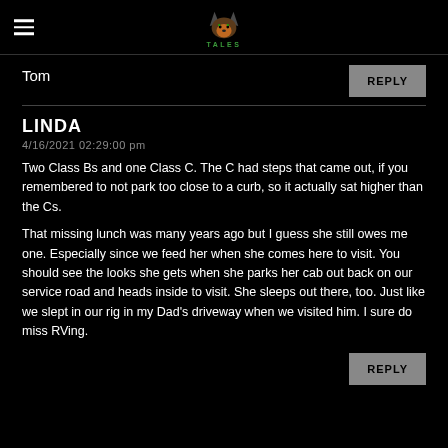FOX TALES
Tom
REPLY
LINDA
4/16/2021 02:29:00 pm
Two Class Bs and one Class C. The C had steps that came out, if you remembered to not park too close to a curb, so it actually sat higher than the Cs.
That missing lunch was many years ago but I guess she still owes me one. Especially since we feed her when she comes here to visit. You should see the looks she gets when she parks her cab out back on our service road and heads inside to visit. She sleeps out there, too. Just like we slept in our rig in my Dad's driveway when we visited him. I sure do miss RVing.
REPLY